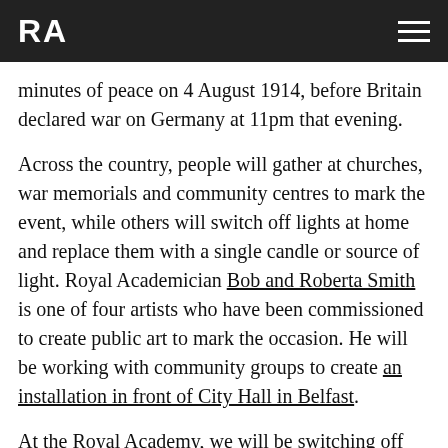RA
minutes of peace on 4 August 1914, before Britain declared war on Germany at 11pm that evening.
Across the country, people will gather at churches, war memorials and community centres to mark the event, while others will switch off lights at home and replace them with a single candle or source of light. Royal Academician Bob and Roberta Smith is one of four artists who have been commissioned to create public art to mark the occasion. He will be working with community groups to create an installation in front of City Hall in Belfast.
At the Royal Academy, we will be switching off the lights across the façade of Burlington House and lighting a single candle in front of the building at 10...